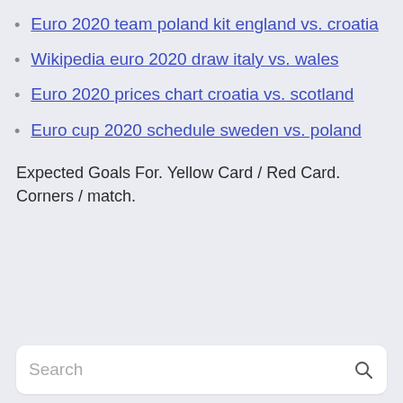Euro 2020 team poland kit england vs. croatia
Wikipedia euro 2020 draw italy vs. wales
Euro 2020 prices chart croatia vs. scotland
Euro cup 2020 schedule sweden vs. poland
Expected Goals For. Yellow Card / Red Card. Corners / match.